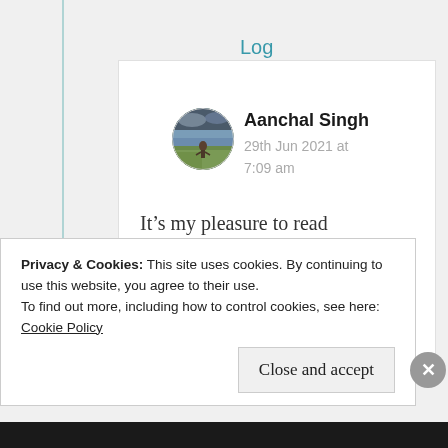Log in to Reply
[Figure (photo): Circular avatar photo of Aanchal Singh showing a person in a grassy field with dramatic sky]
Aanchal Singh
29th Jun 2021 at 7:09 am
It’s my pleasure to read your blogs….. I’ve always loved them and
Privacy & Cookies: This site uses cookies. By continuing to use this website, you agree to their use.
To find out more, including how to control cookies, see here: Cookie Policy
Close and accept